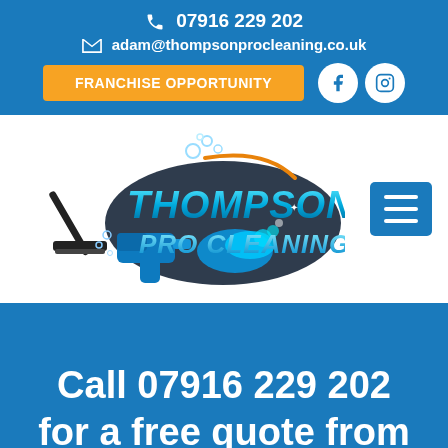07916 229 202
adam@thompsonprocleaning.co.uk
FRANCHISE OPPORTUNITY
[Figure (logo): Thompson Pro Cleaning logo with squeegee, spray gun, water splash and bubble graphics in blue and teal tones]
Call 07916 229 202 for a free quote from the experts